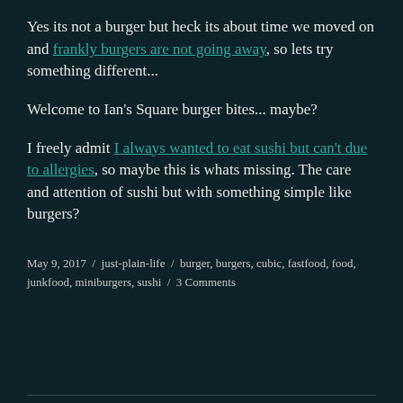Yes its not a burger but heck its about time we moved on and frankly burgers are not going away, so lets try something different...
Welcome to Ian's Square burger bites... maybe?
I freely admit I always wanted to eat sushi but can't due to allergies, so maybe this is whats missing. The care and attention of sushi but with something simple like burgers?
May 9, 2017 / just-plain-life / burger, burgers, cubic, fastfood, food, junkfood, miniburgers, sushi / 3 Comments